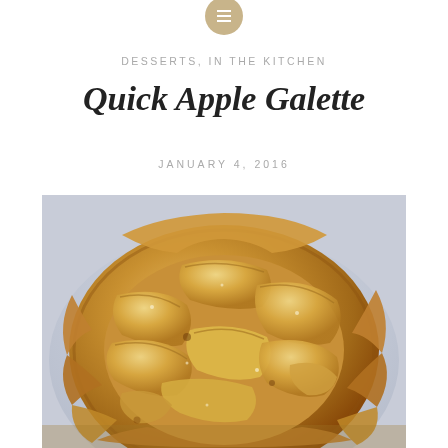DESSERTS, IN THE KITCHEN
Quick Apple Galette
JANUARY 4, 2016
[Figure (photo): Close-up photo of a rustic baked apple galette with golden-brown flaky pastry crust folded around sliced apples, on a light blue plate]